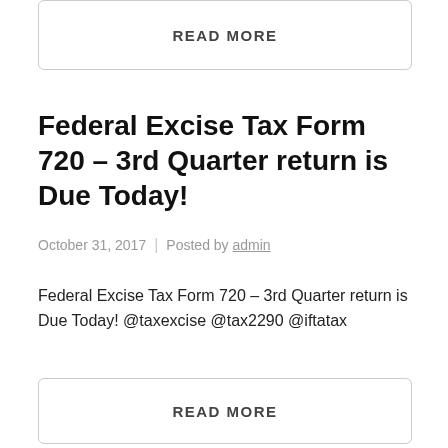READ MORE
Federal Excise Tax Form 720 – 3rd Quarter return is Due Today!
October 31, 2017 | Posted by admin
Federal Excise Tax Form 720 – 3rd Quarter return is Due Today! @taxexcise @tax2290 @iftatax
READ MORE